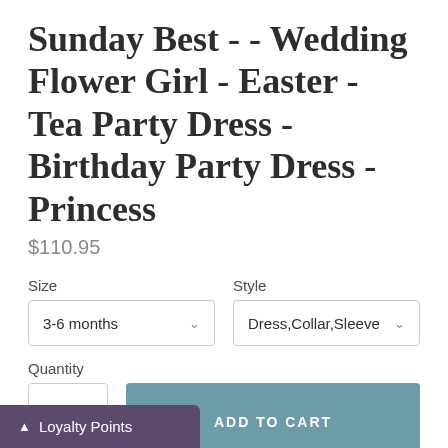Sunday Best - - Wedding Flower Girl - Easter - Tea Party Dress - Birthday Party Dress - Princess
$110.95
Size
3-6 months
Style
Dress,Collar,Sleeve
Quantity
1
ADD TO CART
Beauty - Sunday Best dress - Cinderella Pageant Dress -- extra full skirt to look extra cute in front of
Loyalty Points